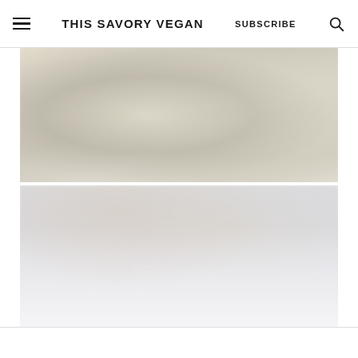THIS SAVORY VEGAN | SUBSCRIBE
[Figure (photo): Blurred photograph of a food dish, appearing to be a creamy pasta or dip in a dark bowl, served with chips or crackers, shown from above on a white surface.]
[Figure (photo): Blurred image below the food photo, likely a recipe card or advertisement with light gray/white tones and faint text, content not legible due to blur.]